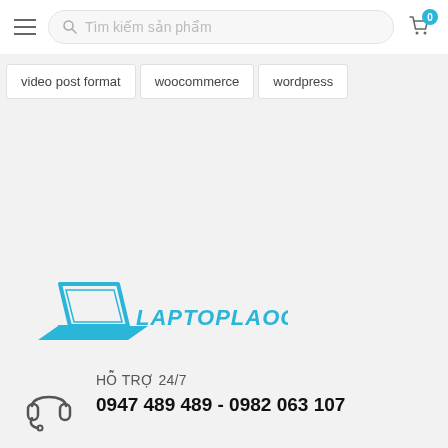Tìm kiếm sản phẩm
video post format
woocommerce
wordpress
[Figure (logo): LAPTOPLAOCAI.VN logo with cyan laptop icon]
HỖ TRỢ 24/7
0947 489 489 - 0982 063 107